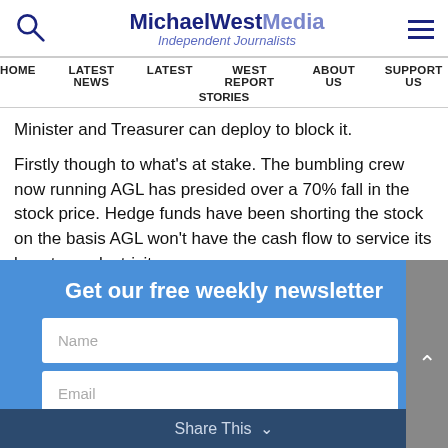MichaelWest Media — Independent Journalists
HOME  LATEST NEWS  LATEST  WEST REPORT  ABOUT US  SUPPORT US  STORIES
Minister and Treasurer can deploy to block it.
Firstly though to what's at stake. The bumbling crew now running AGL has presided over a 70% fall in the stock price. Hedge funds have been shorting the stock on the basis AGL won't have the cash flow to service its long term electricity
[Figure (screenshot): Newsletter signup modal overlay with blue background. Title: 'Get our free weekly newsletter'. Fields: Name, Email. Button: 'GET NEWSLETTER' in orange.]
Share This  ✕